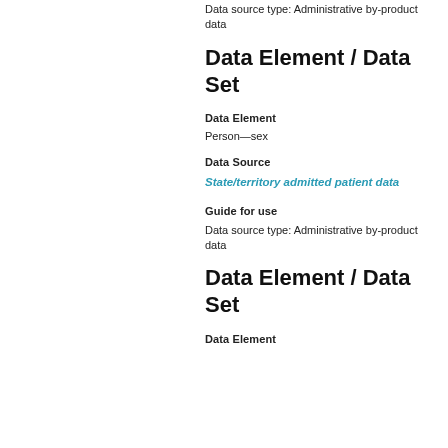Data source type: Administrative by-product data
Data Element / Data Set
Data Element
Person—sex
Data Source
State/territory admitted patient data
Guide for use
Data source type: Administrative by-product data
Data Element / Data Set
Data Element